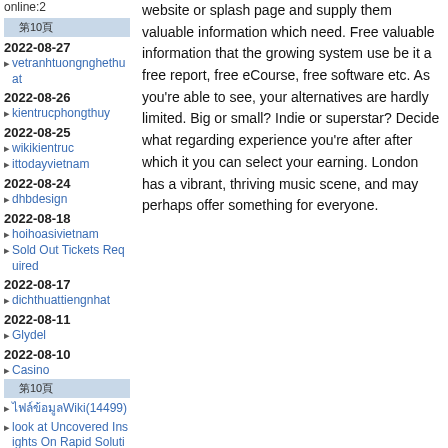online:2
第10頁
2022-08-27
vetranhtuongnghethuat
2022-08-26
kientrucphongthuy
2022-08-25
wikikientruc
ittodayvietnam
2022-08-24
dhbdesign
2022-08-18
hoihoasivietnam
Sold Out Tickets Required
2022-08-17
dichthuattiengnhat
2022-08-11
Glydel
2022-08-10
Casino
第10頁
ไฟล์ข้อมูลWiki(14499)
look at Uncovered Insights On Rapid Solutions Of guaranteed payday loans no teletrack blog(8241)
website or splash page and supply them valuable information which need. Free valuable information that the growing system use be it a free report, free eCourse, free software etc. As you're able to see, your alternatives are hardly limited. Big or small? Indie or superstar? Decide what regarding experience you're after after which it you can select your earning. London has a vibrant, thriving music scene, and may perhaps offer something for everyone.